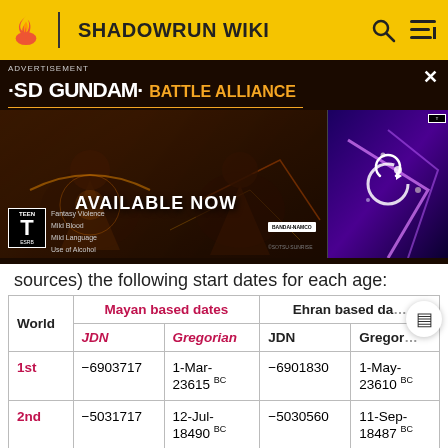SHADOWRUN WIKI
[Figure (screenshot): Advertisement banner for SD Gundam Battle Alliance game, showing robot figures, 'AVAILABLE NOW' text, ESRB Teen rating, and Bandai Namco logo]
sources) the following start dates for each age:
| World | Mayan based dates — JDN | Mayan based dates — Gregorian | Ehran based dates — JDN | Ehran based dates — Gregorian |
| --- | --- | --- | --- | --- |
| 1st | -6903717 | 1-Mar-23615 BC | -6901830 | 1-May-23610 BC |
| 2nd | -5031717 | 12-Jul-18490 BC | -5030560 | 11-Sep-18487 BC |